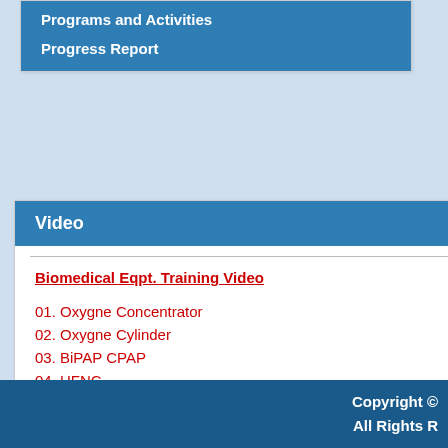Programs and Activities
Progress Report
Video
Biomedical Eqpt. Training Video
01. Oxygne Concentrator
02. Oxygne Cylinder
03. BiPAP CPAP
04. HFNC
05. Ventilator
Usef
1. MoH
2. MoH
3. MoH
4. MoH
5. WHO
Copyright © All Rights R